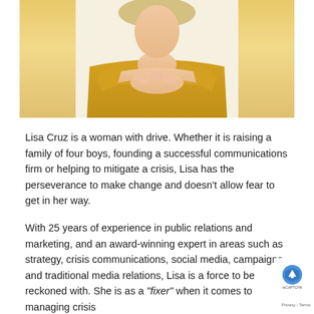[Figure (photo): A woman wearing a yellow sweater with her hands clasped together near her chin, seated against a light background. Only the torso and hands are visible, cropped at the top of the frame.]
Lisa Cruz is a woman with drive. Whether it is raising a family of four boys, founding a successful communications firm or helping to mitigate a crisis, Lisa has the perseverance to make change and doesn't allow fear to get in her way.
With 25 years of experience in public relations and marketing, and an award-winning expert in areas such as strategy, crisis communications, social media, campaigns and traditional media relations, Lisa is a force to be reckoned with. She is as a "fixer" when it comes to managing crisis...